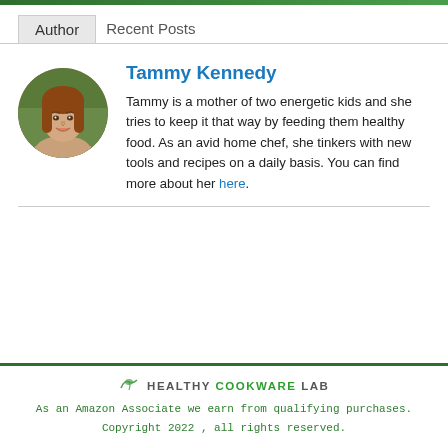Author | Recent Posts
[Figure (photo): Circular portrait photo of Tammy Kennedy, a woman with long reddish-brown hair, smiling outdoors]
Tammy Kennedy
Tammy is a mother of two energetic kids and she tries to keep it that way by feeding them healthy food. As an avid home chef, she tinkers with new tools and recipes on a daily basis. You can find more about her here.
HEALTHY COOKWARE LAB
As an Amazon Associate we earn from qualifying purchases.
Copyright 2022 , all rights reserved.